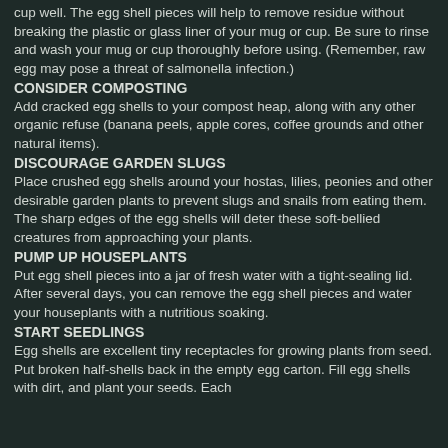cup well. The egg shell pieces will help to remove residue without breaking the plastic or glass liner of your mug or cup. Be sure to rinse and wash your mug or cup thoroughly before using. (Remember, raw egg may pose a threat of salmonella infection.)
CONSIDER COMPOSTING
Add cracked egg shells to your compost heap, along with any other organic refuse (banana peels, apple cores, coffee grounds and other natural items).
DISCOURAGE GARDEN SLUGS
Place crushed egg shells around your hostas, lilies, peonies and other desirable garden plants to prevent slugs and snails from eating them. The sharp edges of the egg shells will deter these soft-bellied creatures from approaching your plants.
PUMP UP HOUSEPLANTS
Put egg shell pieces into a jar of fresh water with a tight-sealing lid. After several days, you can remove the egg shell pieces and water your houseplants with a nutritious soaking.
START SEEDLINGS
Egg shells are excellent tiny receptacles for growing plants from seed. Put broken half-shells back in the empty egg carton. Fill egg shells with dirt, and plant your seeds. Each